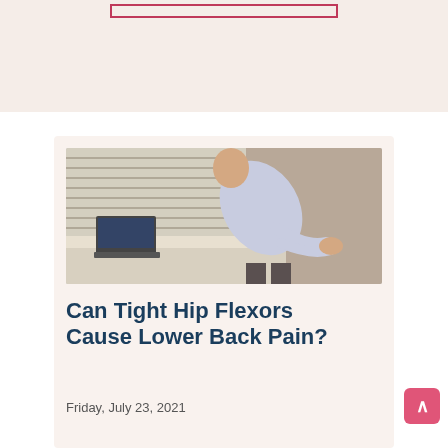[Figure (photo): Person in business attire bent over a desk holding their lower back in pain, with a laptop on the desk and window blinds in the background]
Can Tight Hip Flexors Cause Lower Back Pain?
Friday, July 23, 2021